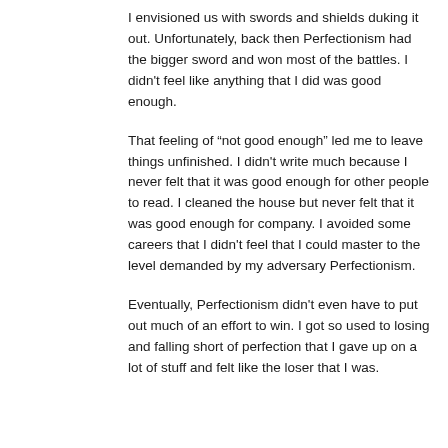I envisioned us with swords and shields duking it out. Unfortunately, back then Perfectionism had the bigger sword and won most of the battles. I didn't feel like anything that I did was good enough.
That feeling of “not good enough” led me to leave things unfinished. I didn't write much because I never felt that it was good enough for other people to read. I cleaned the house but never felt that it was good enough for company. I avoided some careers that I didn't feel that I could master to the level demanded by my adversary Perfectionism.
Eventually, Perfectionism didn't even have to put out much of an effort to win. I got so used to losing and falling short of perfection that I gave up on a lot of stuff and felt like the loser that I was.